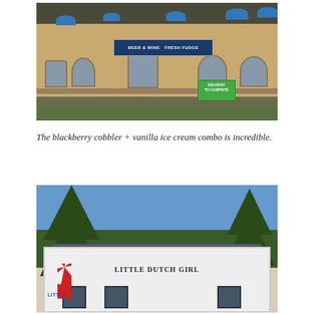[Figure (photo): Exterior of a restaurant or shop with blue patio umbrellas, a covered porch, signs reading 'Beer & Wine' and 'Fresh Fudge', and a green 'Delivery' sign in front.]
The blackberry cobbler + vanilla ice cream combo is incredible.
[Figure (photo): Exterior of a shop called 'Little Dutch Girl' with a white building, blue roof trim, large trees, and a red-and-white windmill decoration in front.]